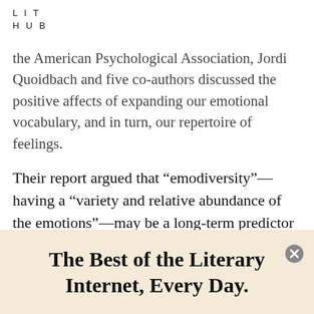LIT
HUB
the American Psychological Association, Jordi Quoidbach and five co-authors discussed the positive affects of expanding our emotional vocabulary, and in turn, our repertoire of feelings.
Their report argued that “emodiversity”—having a “variety and relative abundance of the emotions”—may be a long-term predictor of emotional and physical health.
Their longitudinal study looked at the emotional
The Best of the Literary Internet, Every Day.